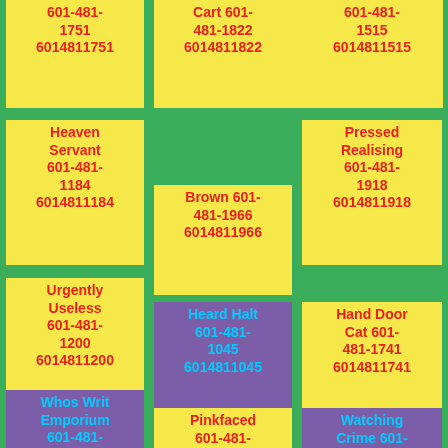601-481-1751 6014811751
Cart 601-481-1822 6014811822
601-481-1515 6014811515
Heaven Servant 601-481-1184 6014811184
Brown 601-481-1966 6014811966
Pressed Realising 601-481-1918 6014811918
Urgently Useless 601-481-1200 6014811200
Heard Halt 601-481-1045 6014811045
Hand Door Cat 601-481-1741 6014811741
Whos Writ Emporium 601-481-1033 6014811033
Pinkfaced 601-481-1965 6014811965
Watching Crime 601-481-1024 6014811024